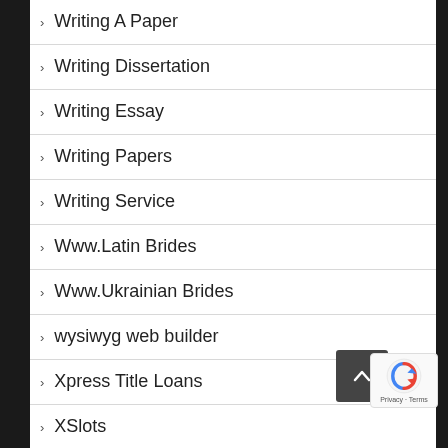Writing A Paper
Writing Dissertation
Writing Essay
Writing Papers
Writing Service
Www.Latin Brides
Www.Ukrainian Brides
wysiwyg web builder
Xpress Title Loans
XSlots